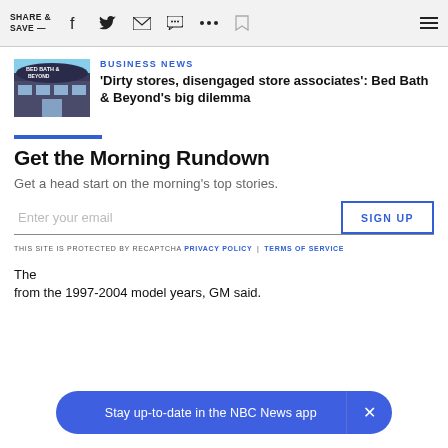SHARE & SAVE —
[Figure (photo): Bed Bath & Beyond store exterior with sign]
BUSINESS NEWS
'Dirty stores, disengaged store associates': Bed Bath & Beyond's big dilemma
Get the Morning Rundown
Get a head start on the morning's top stories.
Enter your email  SIGN UP
THIS SITE IS PROTECTED BY RECAPTCHA  PRIVACY POLICY | TERMS OF SERVICE
The from the 1997-2004 model years, GM said.
Stay up-to-date in the NBC News app